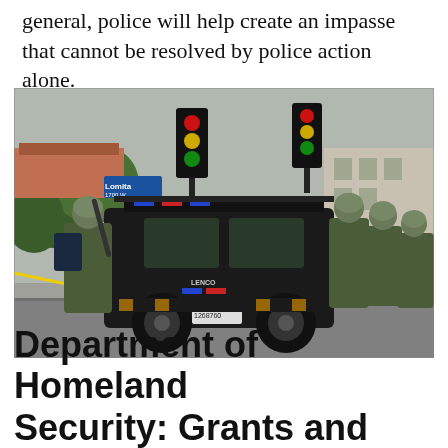general, police will help create an impasse that cannot be resolved by police action alone.
[Figure (photo): SWAT officers in tactical gear and helmets standing behind a large black armored Lenco BearCat vehicle on a city street. A street sign reads 'Lomita' in the background. Yellow police tape is visible on the left.]
Department of Homeland Security: Grants and